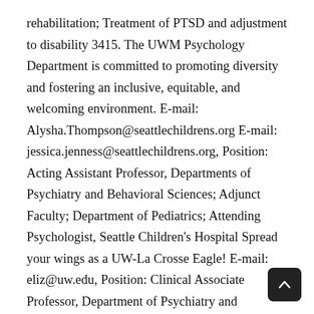rehabilitation; Treatment of PTSD and adjustment to disability 3415. The UWM Psychology Department is committed to promoting diversity and fostering an inclusive, equitable, and welcoming environment. E-mail: Alysha.Thompson@seattlechildrens.org E-mail: jessica.jenness@seattlechildrens.org, Position: Acting Assistant Professor, Departments of Psychiatry and Behavioral Sciences; Adjunct Faculty; Department of Pediatrics; Attending Psychologist, Seattle Children's Hospital Spread your wings as a UW-La Crosse Eagle! E-mail: eliz@uw.edu, Position: Clinical Associate Professor, Department of Psychiatry and Behavioral Sciences | Attending Psychologist, Department of Psychiatry and Behavior Medicine, Seattle Children's Hospital Degree: PhD, 2008, University of Washington Degree: PhD, 2012, CSPP My training and interests are in Community Psychology and Applied Developmental